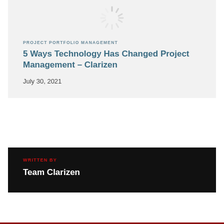[Figure (other): Loading spinner icon (gray radial lines), centered at top of card]
PROJECT PORTFOLIO MANAGEMENT
5 Ways Technology Has Changed Project Management – Clarizen
July 30, 2021
WRITTEN BY
Team Clarizen